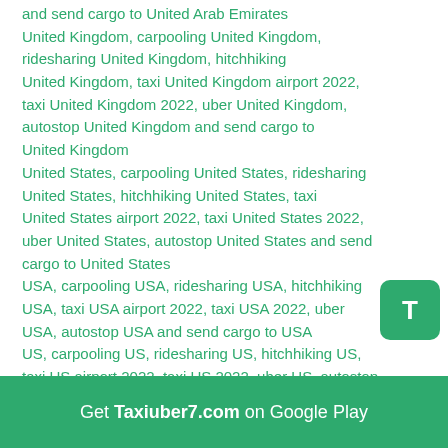and send cargo to United Arab Emirates United Kingdom, carpooling United Kingdom, ridesharing United Kingdom, hitchhiking United Kingdom, taxi United Kingdom airport 2022, taxi United Kingdom 2022, uber United Kingdom, autostop United Kingdom and send cargo to United Kingdom United States, carpooling United States, ridesharing United States, hitchhiking United States, taxi United States airport 2022, taxi United States 2022, uber United States, autostop United States and send cargo to United States USA, carpooling USA, ridesharing USA, hitchhiking USA, taxi USA airport 2022, taxi USA 2022, uber USA, autostop USA and send cargo to USA US, carpooling US, ridesharing US, hitchhiking US, taxi US airport 2022, taxi US 2022, uber US, autostop US and send cargo to US Uruguay, carpooling Uruguay, ridesharing Uruguay, hitchhiking Uruguay, taxi Uruguay airport 2022, taxi Uruguay 2022, uber Uruguay, autostop Uruguay and send cargo to Uruguay Us Virgin Islands, carpooling Us Virgin Islands, ridesharing Us Virgin Islands, hitchhiking Us Virgin Islands, taxi Us Virgin Islands airport 2022,
[Figure (other): Green rounded square button with white letter T]
Get Taxiuber7.com on Google Play